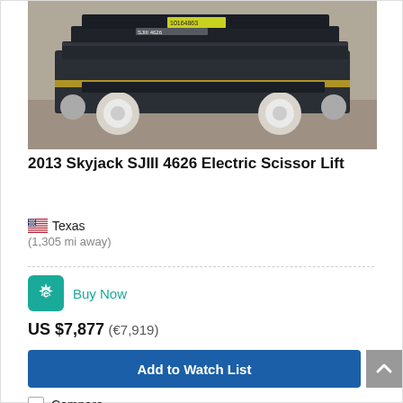[Figure (photo): Photo of a 2013 Skyjack SJIII 4626 Electric Scissor Lift on a gravel/dirt surface, machine is dark colored with yellow striping, white wheels visible, stacked scissor platform in lowered position.]
2013 Skyjack SJIII 4626 Electric Scissor Lift
Texas
(1,305 mi away)
Buy Now
US $7,877 (€7,919)
Add to Watch List
Compare